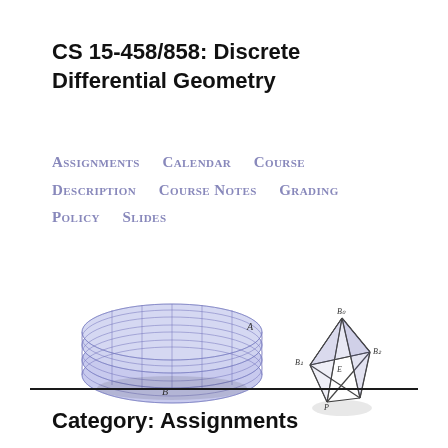CS 15-458/858: Discrete Differential Geometry
Assignments
Calendar
Course Description
Course Notes
Grading Policy
Slides
[Figure (illustration): Three 3D geometry illustrations: a blue disc with curvature lines and labeled points A and B, a wireframe tetrahedron/simplex with labeled vertices, and a pink/rose mesh of a bunny (Stanford bunny)]
Category: Assignments